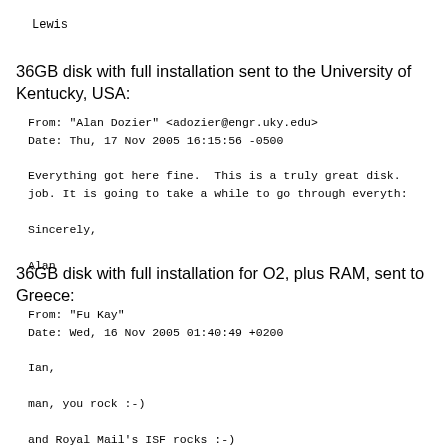Lewis
36GB disk with full installation sent to the University of Kentucky, USA:
From: "Alan Dozier" <adozier@engr.uky.edu>
Date: Thu, 17 Nov 2005 16:15:56 -0500

Everything got here fine.  This is a truly great disk. job. It is going to take a while to go through everyth:

Sincerely,

Alan
36GB disk with full installation for O2, plus RAM, sent to Greece:
From: "Fu Kay"
Date: Wed, 16 Nov 2005 01:40:49 +0200

Ian,

man, you rock :-)

and Royal Mail's ISF rocks :-)